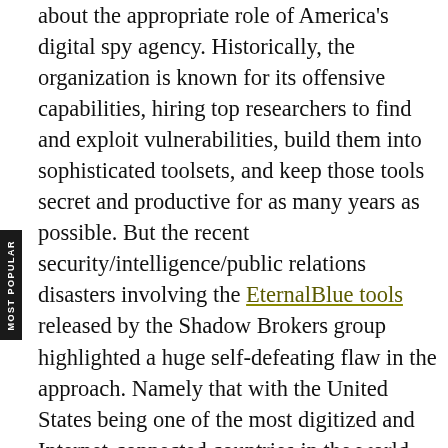about the appropriate role of America's digital spy agency. Historically, the organization is known for its offensive capabilities, hiring top researchers to find and exploit vulnerabilities, build them into sophisticated toolsets, and keep those tools secret and productive for as many years as possible. But the recent security/intelligence/public relations disasters involving the EternalBlue tools released by the Shadow Brokers group highlighted a huge self-defeating flaw in the approach. Namely that with the United States being one of the most digitized and Internet-connected countries in the world, when those U.S.-developed tools get into the hands of adversaries of the United States and U.S. businesses, they can do more damage to the U.S. than they could do to their intended targets.
In a statement reported by The Washington Post, a senior NSA official acknowledged the shift in gears